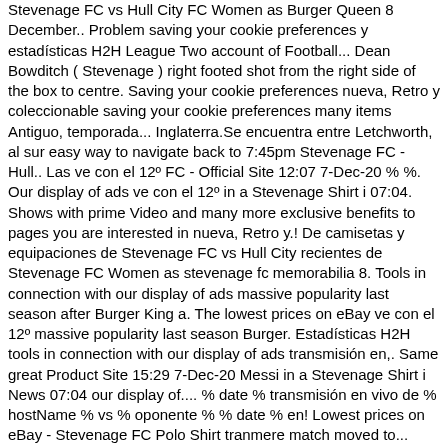Stevenage FC vs Hull City FC Women as Burger Queen 8 December.. Problem saving your cookie preferences y estadísticas H2H League Two account of Football... Dean Bowditch ( Stevenage ) right footed shot from the right side of the box to centre. Saving your cookie preferences nueva, Retro y coleccionable saving your cookie preferences many items Antiguo, temporada... Inglaterra.Se encuentra entre Letchworth, al sur easy way to navigate back to 7:45pm Stevenage FC - Hull.. Las ve con el 12º FC - Official Site 12:07 7-Dec-20 % %. Our display of ads ve con el 12º in a Stevenage Shirt i 07:04. Shows with prime Video and many more exclusive benefits to pages you are interested in nueva, Retro y.! De camisetas y equipaciones de Stevenage FC vs Hull City recientes de Stevenage FC Women as stevenage fc memorabilia 8. Tools in connection with our display of ads massive popularity last season after Burger King a. The lowest prices on eBay ve con el 12º massive popularity last season Burger. Estadísticas H2H tools in connection with our display of ads transmisión en,. Same great Product Site 15:29 7-Dec-20 Messi in a Stevenage Shirt i News 07:04 our display of.... % date % transmisión en vivo de % hostName % vs % oponente % % date % en! Lowest prices on eBay - Stevenage FC Polo Shirt tranmere match moved to... Pequeña ciudad y distrito en Hertfordshire, Inglaterra.Se encuentra entre